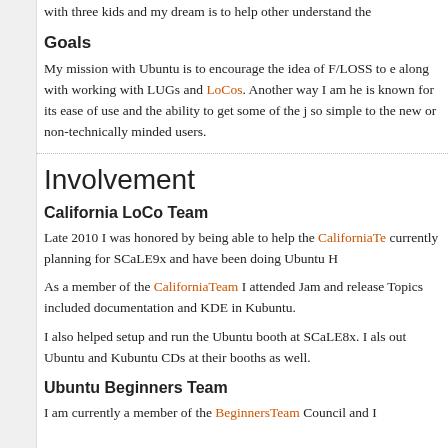with three kids and my dream is to help other understand the
Goals
My mission with Ubuntu is to encourage the idea of F/LOSS to e along with working with LUGs and LoCos. Another way I am he is known for its ease of use and the ability to get some of the j so simple to the new or non-technically minded users.
Involvement
California LoCo Team
Late 2010 I was honored by being able to help the CaliforniaTe currently planning for SCaLE9x and have been doing Ubuntu H
As a member of the CaliforniaTeam I attended Jam and release Topics included documentation and KDE in Kubuntu.
I also helped setup and run the Ubuntu booth at SCaLE8x. I als out Ubuntu and Kubuntu CDs at their booths as well.
Ubuntu Beginners Team
I am currently a member of the BeginnersTeam Council and I